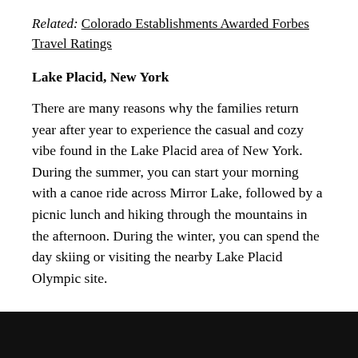Related: Colorado Establishments Awarded Forbes Travel Ratings
Lake Placid, New York
There are many reasons why the families return year after year to experience the casual and cozy vibe found in the Lake Placid area of New York. During the summer, you can start your morning with a canoe ride across Mirror Lake, followed by a picnic lunch and hiking through the mountains in the afternoon. During the winter, you can spend the day skiing or visiting the nearby Lake Placid Olympic site.